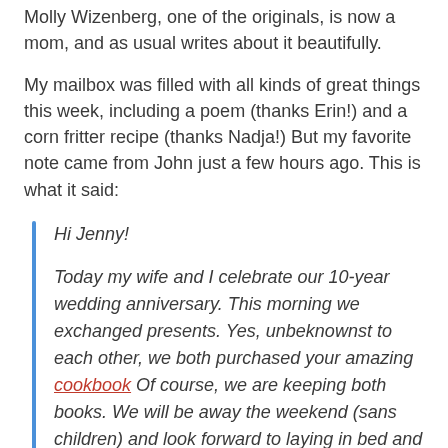Molly Wizenberg, one of the originals, is now a mom, and as usual writes about it beautifully.
My mailbox was filled with all kinds of great things this week, including a poem (thanks Erin!) and a corn fritter recipe (thanks Nadja!) But my favorite note came from John just a few hours ago. This is what it said:
Hi Jenny!

Today my wife and I celebrate our 10-year wedding anniversary. This morning we exchanged presents. Yes, unbeknownst to each other, we both purchased your amazing cookbook Of course, we are keeping both books. We will be away the weekend (sans children) and look forward to laying in bed and reading our own copies. Thank you for elevating an already very special weekend.